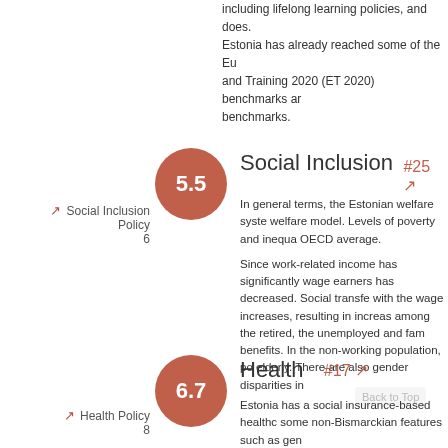including lifelong learning policies, and does. Estonia has already reached some of the Education and Training 2020 (ET 2020) benchmarks and benchmarks.
[Figure (infographic): Red circle with score 5.5 for Social Inclusion section]
Social Inclusion #25 ↗
↗ Social Inclusion Policy 6
In general terms, the Estonian welfare system... welfare model. Levels of poverty and inequality... OECD average.
Since work-related income has significantly... wage earners has decreased. Social transfers... with the wage increases, resulting in increases... among the retired, the unemployed and families... benefits. In the non-working population, poverty... elderly. There are also gender disparities in...
[Figure (infographic): Red circle with score 6.7 for Health section]
Health #17 ↗
↗ Health Policy 8
Estonia has a social insurance-based healthcare... some non-Bismarckian features such as gen...